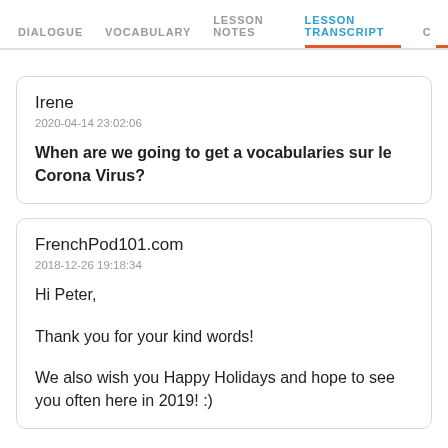DIALOGUE  VOCABULARY  LESSON NOTES  LESSON TRANSCRIPT  C
Irene
2020-04-14 23:02:06
When are we going to get a vocabularies sur le Corona Virus?
FrenchPod101.com
2018-12-26 19:18:34
Hi Peter,

Thank you for your kind words!

We also wish you Happy Holidays and hope to see you often here in 2019! :)